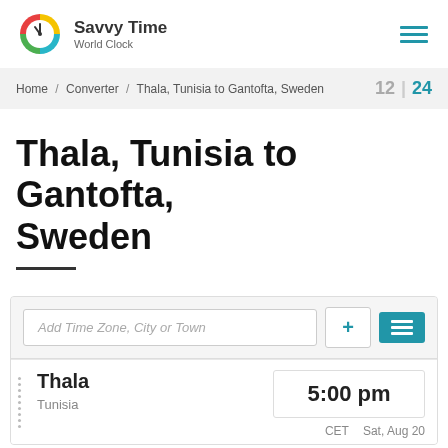Savvy Time World Clock
Home / Converter / Thala, Tunisia to Gantofta, Sweden  12 | 24
Thala, Tunisia to Gantofta, Sweden
Add Time Zone, City or Town
| City | Time | Zone | Date |
| --- | --- | --- | --- |
| Thala | 5:00 pm | CET | Sat, Aug 20 |